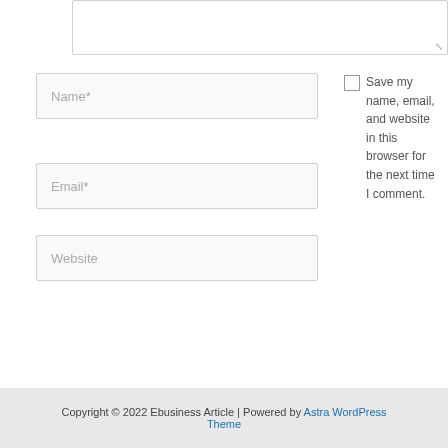[Figure (screenshot): Text area input box (comment field) with resize handle at bottom-right]
[Figure (screenshot): Name* input field]
Save my name, email, and website in this browser for the next time I comment.
[Figure (screenshot): Email* input field]
[Figure (screenshot): Website input field]
[Figure (screenshot): Post Comment » button]
Copyright © 2022 Ebusiness Article | Powered by Astra WordPress Theme